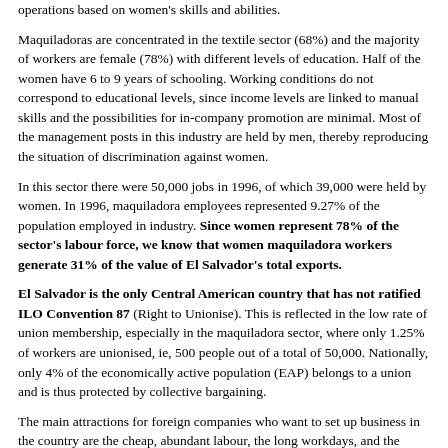operations based on women's skills and abilities.
Maquiladoras are concentrated in the textile sector (68%) and the majority of workers are female (78%) with different levels of education. Half of the women have 6 to 9 years of schooling. Working conditions do not correspond to educational levels, since income levels are linked to manual skills and the possibilities for in-company promotion are minimal. Most of the management posts in this industry are held by men, thereby reproducing the situation of discrimination against women.
In this sector there were 50,000 jobs in 1996, of which 39,000 were held by women. In 1996, maquiladora employees represented 9.27% of the population employed in industry. Since women represent 78% of the sector's labour force, we know that women maquiladora workers generate 31% of the value of El Salvador's total exports.
El Salvador is the only Central American country that has not ratified ILO Convention 87 (Right to Unionise). This is reflected in the low rate of union membership, especially in the maquiladora sector, where only 1.25% of workers are unionised, ie, 500 people out of a total of 50,000. Nationally, only 4% of the economically active population (EAP) belongs to a union and is thus protected by collective bargaining.
The main attractions for foreign companies who want to set up business in the country are the cheap, abundant labour, the long workdays, and the limited labour rights. In general these companies pay the minimum wage ($132/month), but cases have been discovered where workers must meet production goals set by the company or face proportional deductions from their wages.